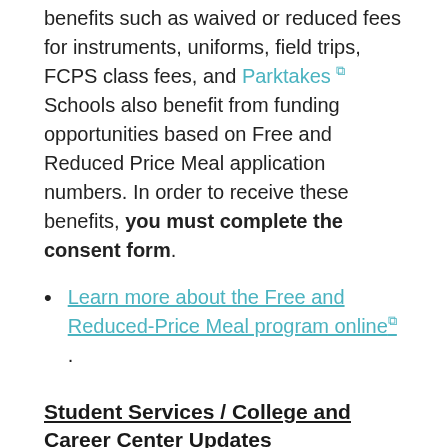benefits such as waived or reduced fees for instruments, uniforms, field trips, FCPS class fees, and Parktakes Schools also benefit from funding opportunities based on Free and Reduced Price Meal application numbers. In order to receive these benefits, you must complete the consent form.
Learn more about the Free and Reduced-Price Meal program online .
Student Services / College and Career Center Updates
WPHS Student Services is excited to